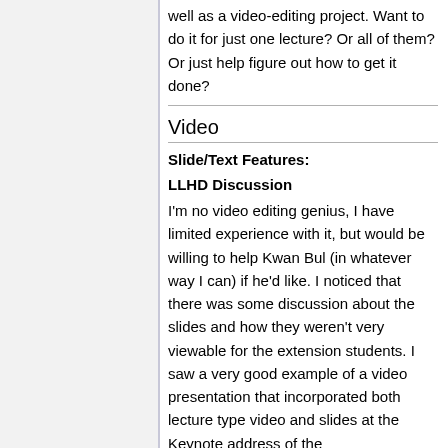well as a video-editing project. Want to do it for just one lecture? Or all of them? Or just help figure out how to get it done?
Video
Slide/Text Features:
LLHD Discussion
I'm no video editing genius, I have limited experience with it, but would be willing to help Kwan Bul (in whatever way I can) if he'd like. I noticed that there was some discussion about the slides and how they weren't very viewable for the extension students. I saw a very good example of a video presentation that incorporated both lecture type video and slides at the Keynote address of the